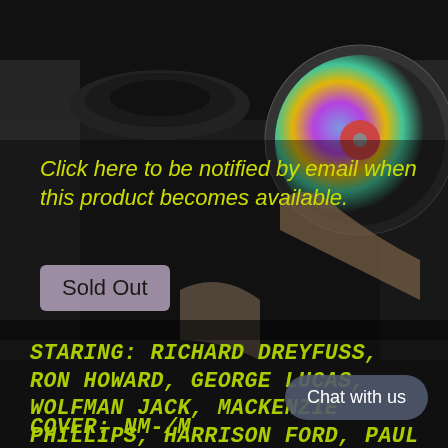[Figure (photo): Dark background photo of hands holding CDs/vinyl records on a turntable, with partial figures visible on left and right edges]
Click here to be notified by email when this product becomes available.
Sold Out
STARING: RICHARD DREYFUSS, RON HOWARD, GEORGE LUCAS, WOLFMAN JACK, MACKENZIE PHILLIPS, HARRISON FORD, PAUL LE MAT, BO HOPKINS, CI... WILLIAMS, CANDY CLARK
COVER: NM-/M
Chat with us